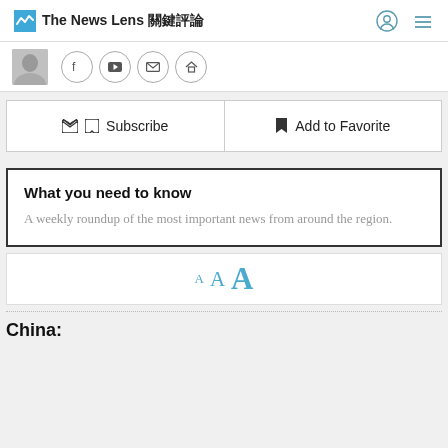The News Lens 關鍵評論
[Figure (screenshot): Social media icons bar with avatar thumbnail and circular icons for Facebook, YouTube, email, and home]
Subscribe | Add to Favorite
What you need to know
A weekly roundup of the most important news from around the region.
[Figure (other): Text size selector showing three sizes of the letter A in blue]
China: